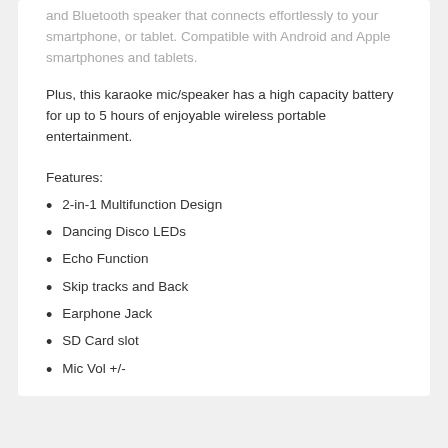and Bluetooth speaker that connects effortlessly to your smartphone, or tablet. Compatible with Android and Apple smartphones and tablets.
Plus, this karaoke mic/speaker has a high capacity battery for up to 5 hours of enjoyable wireless portable entertainment.
Features:
2-in-1 Multifunction Design
Dancing Disco LEDs
Echo Function
Skip tracks and Back
Earphone Jack
SD Card slot
Mic Vol +/-